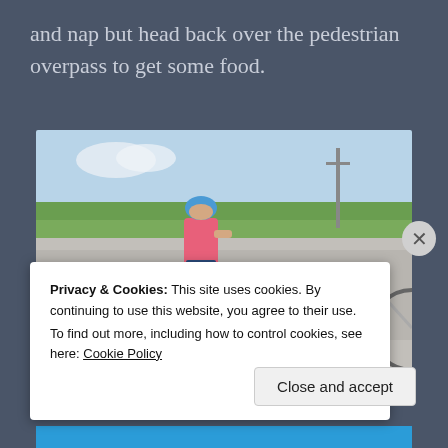and nap but head back over the pedestrian overpass to get some food.
[Figure (photo): A cyclist in a pink jersey and blue helmet standing next to two bicycles on a roadside, one bike with yellow fenders and another with blue panniers/bags. Trees and a utility pole visible in background under a partly cloudy sky.]
Privacy & Cookies: This site uses cookies. By continuing to use this website, you agree to their use.
To find out more, including how to control cookies, see here: Cookie Policy
Close and accept